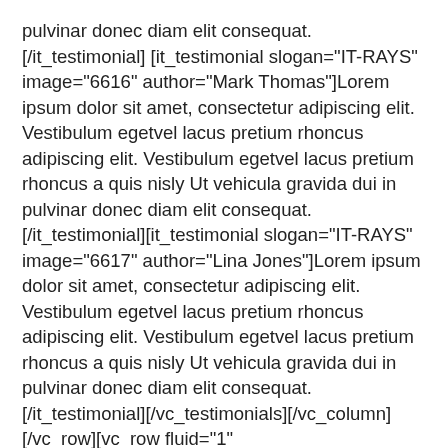pulvinar donec diam elit consequat.[/it_testimonial][it_testimonial slogan="IT-RAYS" image="6616" author="Mark Thomas"]Lorem ipsum dolor sit amet, consectetur adipiscing elit. Vestibulum egetvel lacus pretium rhoncus adipiscing elit. Vestibulum egetvel lacus pretium rhoncus a quis nisly Ut vehicula gravida dui in pulvinar donec diam elit consequat.[/it_testimonial][it_testimonial slogan="IT-RAYS" image="6617" author="Lina Jones"]Lorem ipsum dolor sit amet, consectetur adipiscing elit. Vestibulum egetvel lacus pretium rhoncus adipiscing elit. Vestibulum egetvel lacus pretium rhoncus a quis nisly Ut vehicula gravida dui in pulvinar donec diam elit consequat.[/it_testimonial][/vc_testimonials][/vc_column][/vc_row][vc_row fluid="1" section_bg_color="#f1f1f1"][vc_column][it_heading heading_style="style2" text="Testimonials"]What Poeple Said[/it_heading][vc_testimonials block_style="7" testo_slides="3" testo_scroll="3" testo_arrows="1"][it_testimonial slogan="ThemeForest" image="6614" author="John